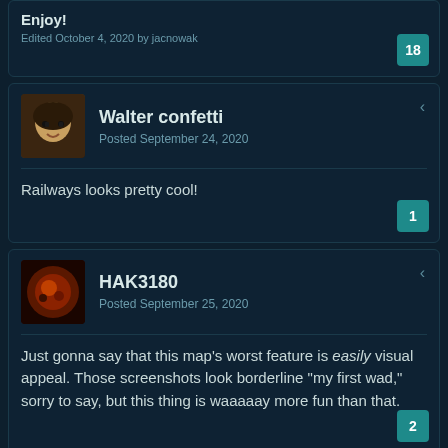Enjoy!
Edited October 4, 2020 by jacnowak
18
Walter confetti
Posted September 24, 2020
Railways looks pretty cool!
1
HAK3180
Posted September 25, 2020
Just gonna say that this map's worst feature is easily visual appeal. Those screenshots look borderline "my first wad," sorry to say, but this thing is waaaaay more fun than that.
2